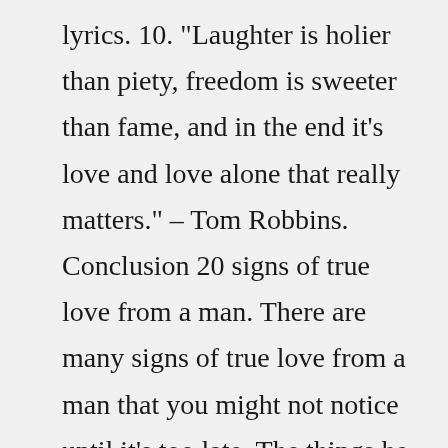lyrics. 10. "Laughter is holier than piety, freedom is sweeter than fame, and in the end it's love and love alone that really matters." – Tom Robbins. Conclusion 20 signs of true love from a man. There are many signs of true love from a man that you might not notice until it's too late. The things he does for you and how he tries to please your needs show his dedication, but there are other more subtle hints as well.